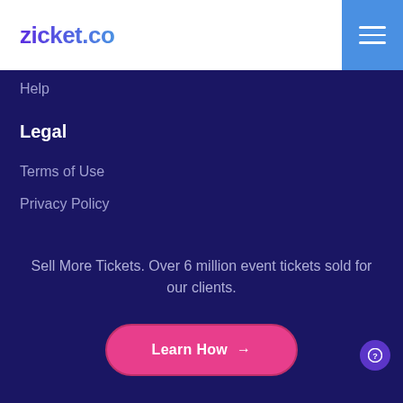zicket.co
Help
Legal
Terms of Use
Privacy Policy
Sell More Tickets. Over 6 million event tickets sold for our clients.
Learn How →